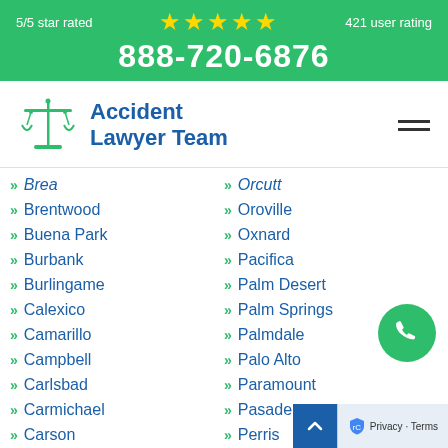5/5 star rated ★★★★★ 421 user rating 888-720-6876
[Figure (logo): Accident Lawyer Team logo with scales of justice icon]
Brea
Orcutt
Brentwood
Oroville
Buena Park
Oxnard
Burbank
Pacifica
Burlingame
Palm Desert
Calexico
Palm Springs
Camarillo
Palmdale
Campbell
Palo Alto
Carlsbad
Paramount
Carmichael
Pasadena
Carson
Perris
Castro Valley
Petaluma
Cathedral City
Pico Rivera